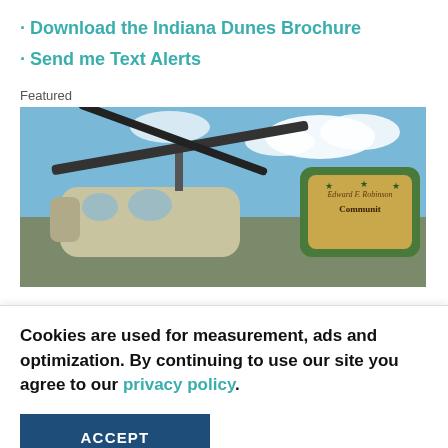· Download the Indiana Dunes Brochure
· Send me Text Alerts
Featured
[Figure (photo): Outdoor photo showing a helicopter rotor mechanism with a military or utility helicopter below, and a green sign reading 'Edward F. Robinson Community' in background against a blue sky with clouds.]
[Figure (infographic): Advertisement banner: dark blue background with colorful gummy candy image on left, text 'Treat Yourself to the World's Best Gummies at Albanese →' in white. Orange X close button top right.]
Cookies are used for measurement, ads and optimization. By continuing to use our site you agree to our privacy policy.
ACCEPT
Community Pool and More...